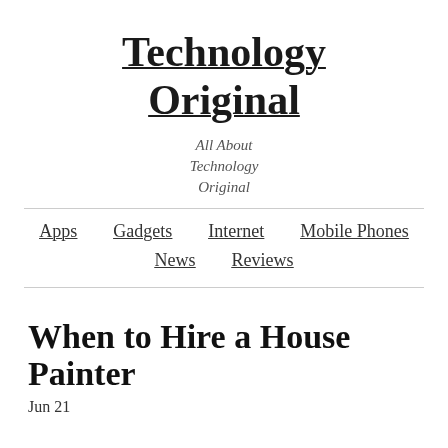Technology Original
All About Technology Original
Apps  Gadgets  Internet  Mobile Phones  News  Reviews
When to Hire a House Painter
Jun 21